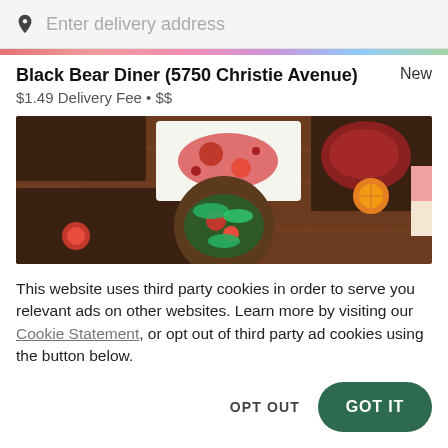Enter delivery address
Black Bear Diner (5750 Christie Avenue)
$1.49 Delivery Fee • $$
[Figure (photo): Overhead view of restaurant food dishes on dark wooden trays on a wooden table, including salads, meat, and garnishes]
This website uses third party cookies in order to serve you relevant ads on other websites. Learn more by visiting our Cookie Statement, or opt out of third party ad cookies using the button below.
OPT OUT
GOT IT